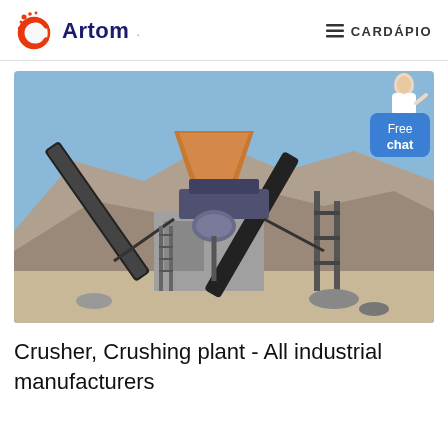Artom   ≡ CARDÁPIO
[Figure (photo): Industrial crushing plant at a quarry site. Large conveyor belts, crushers and concrete structures surrounded by rocky terrain and blue sky. A 'Free chat' widget with a person icon appears in the bottom-right corner of the image.]
Crusher, Crushing plant - All industrial manufacturers